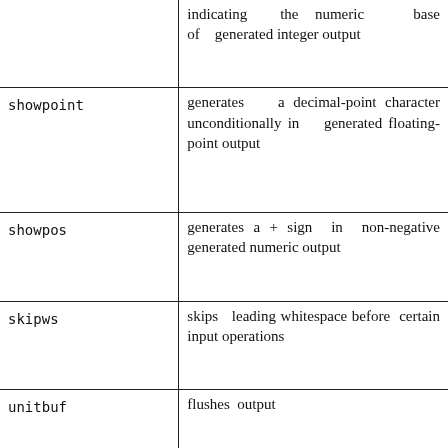| (flag name) | (description) |
| --- | --- |
|  | indicating the numeric base of generated integer output |
| showpoint | generates a decimal-point character unconditionally in generated floating-point output |
| showpos | generates a + sign in non-negative generated numeric output |
| skipws | skips leading whitespace before certain input operations |
| unitbuf | flushes output |